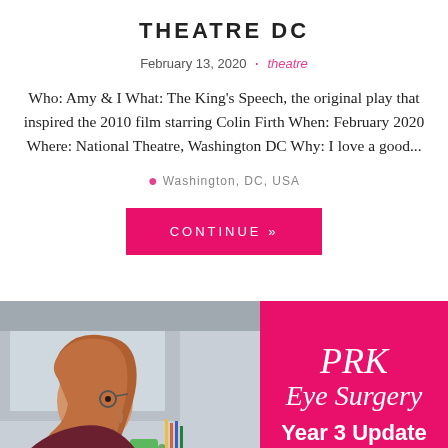THEATRE DC
February 13, 2020 · theatre
Who: Amy & I What: The King's Speech, the original play that inspired the 2010 film starring Colin Firth When: February 2020 Where: National Theatre, Washington DC Why: I love a good...
Washington, DC, USA
CONTINUE »
[Figure (photo): Left half: woman with long auburn hair sitting at a desk in profile, wearing glasses and a dark top, with a green mug and office supplies visible. Right half: pink/magenta panel with white script text reading 'PRK Eye Surgery' and bold white text 'Year 3 Update']